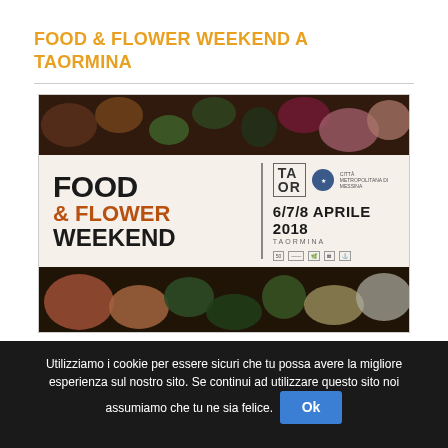FOOD & FLOWER WEEKEND A TAORMINA
[Figure (illustration): Event promotional image for Food & Flower Weekend in Taormina, April 6/7/8 2018, with food photography strips top and bottom, and a central banner with the event name, logos, and date]
Utilizziamo i cookie per essere sicuri che tu possa avere la migliore esperienza sul nostro sito. Se continui ad utilizzare questo sito noi assumiamo che tu ne sia felice. Ok